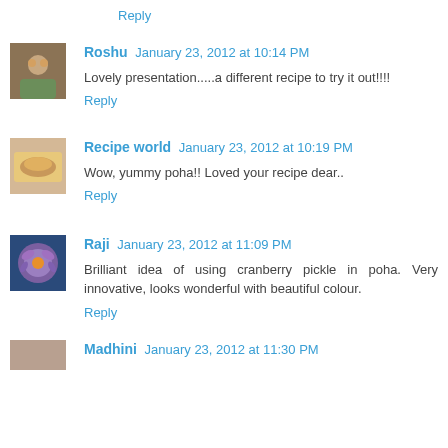Reply
Roshu January 23, 2012 at 10:14 PM
Lovely presentation.....a different recipe to try it out!!!!
Reply
Recipe world January 23, 2012 at 10:19 PM
Wow, yummy poha!! Loved your recipe dear..
Reply
Raji January 23, 2012 at 11:09 PM
Brilliant idea of using cranberry pickle in poha. Very innovative, looks wonderful with beautiful colour.
Reply
Madhini January 23, 2012 at 11:30 PM